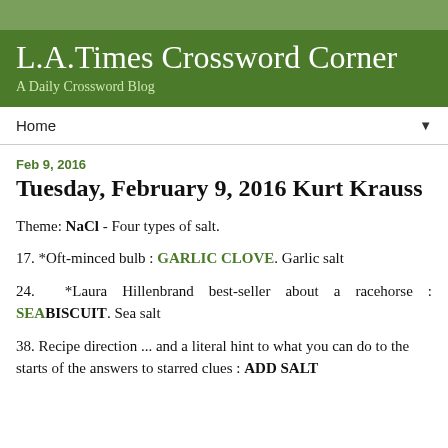L.A.Times Crossword Corner
A Daily Crossword Blog
Tuesday, February 9, 2016 Kurt Krauss
Feb 9, 2016
Theme: NaCl - Four types of salt.
17. *Oft-minced bulb : GARLIC CLOVE. Garlic salt
24. *Laura Hillenbrand best-seller about a racehorse : SEABISCUIT. Sea salt
38. Recipe direction ... and a literal hint to what you can do to the starts of the answers to starred clues : ADD SALT